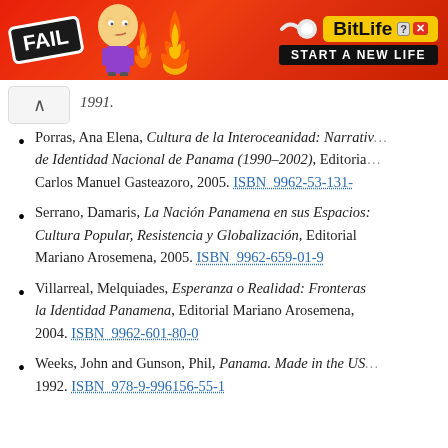[Figure (other): Advertisement banner for BitLife game app with 'FAIL' badge and 'START A NEW LIFE' text on red background]
1991.
Porras, Ana Elena, Cultura de la Interoceanidad: Narrativa de Identidad Nacional de Panama (1990–2002), Editorial Carlos Manuel Gasteazoro, 2005. ISBN 9962-53-131-
Serrano, Damaris, La Nación Panamena en sus Espacios: Cultura Popular, Resistencia y Globalización, Editorial Mariano Arosemena, 2005. ISBN 9962-659-01-9
Villarreal, Melquiades, Esperanza o Realidad: Fronteras la Identidad Panamena, Editorial Mariano Arosemena, 2004. ISBN 9962-601-80-0
Weeks, John and Gunson, Phil, Panama. Made in the USA. 1992. ISBN 978-9-996156-55-1